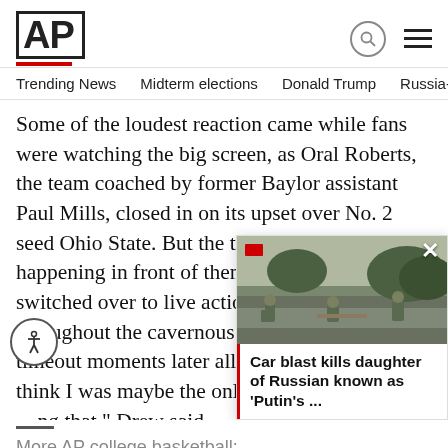AP
Trending News   Midterm elections   Donald Trump   Russia-Ukr
Some of the loudest reaction came while fans were watching the big screen, as Oral Roberts, the team coached by former Baylor assistant Paul Mills, closed in on its upset over No. 2 seed Ohio State. But the timeout in the game happening in front of them ended and the video switched over to live action, eliciting boos from throughout the cavernous stadium. Another timeout moments later allowed the fans to think I was maybe the only one on ...ng that," Drew said.
[Figure (photo): Photo of soldiers/military personnel crouching on a road, with a red tag overlay and close button. This is a popup article preview.]
Car blast kills daughter of Russian known as 'Putin's ...
More AP college basketball: